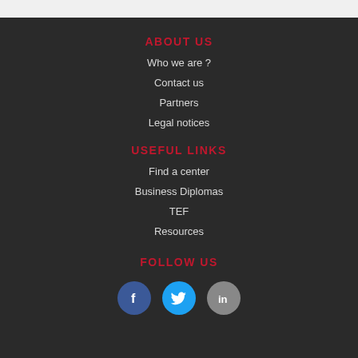ABOUT US
Who we are ?
Contact us
Partners
Legal notices
USEFUL LINKS
Find a center
Business Diplomas
TEF
Resources
FOLLOW US
[Figure (infographic): Three social media icons: Facebook (blue circle with f), Twitter (cyan circle with bird), LinkedIn (grey circle with in)]